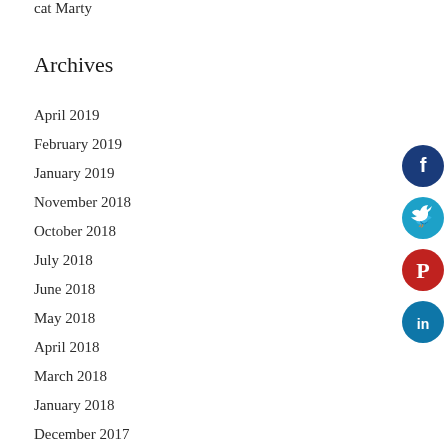cat Marty
Archives
April 2019
February 2019
January 2019
November 2018
October 2018
July 2018
June 2018
May 2018
April 2018
March 2018
January 2018
December 2017
November 2017
[Figure (infographic): Social media share buttons: Facebook (dark blue circle with f), Twitter (light blue circle with bird), Pinterest (red circle with P), LinkedIn (blue circle with in)]